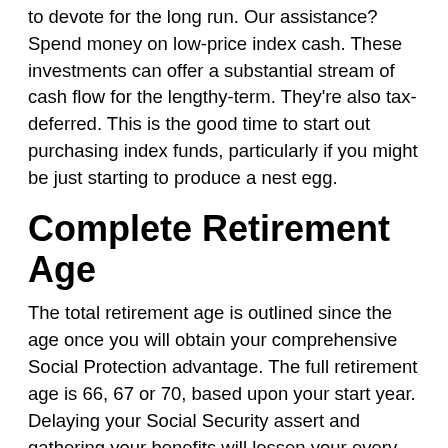to devote for the long run. Our assistance? Spend money on low-price index cash. These investments can offer a substantial stream of cash flow for the lengthy-term. They're also tax-deferred. This is the good time to start out purchasing index funds, particularly if you might be just starting to produce a nest egg.
Complete Retirement Age
The total retirement age is outlined since the age once you will obtain your comprehensive Social Protection advantage. The full retirement age is 66, 67 or 70, based upon your start year. Delaying your Social Security assert and gathering your benefits will lessen your every month payment, however the Strengthen will continue to be until finally your 70th birthday. Here's three main reasons why you'll want to hold out right up until your full retirement age. Read on to understand extra. But very first, let us make clear what comprehensive retirement age usually means.